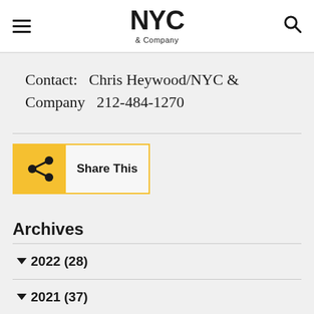NYC & Company
Contact:   Chris Heywood/NYC & Company   212-484-1270
[Figure (other): Share This button with yellow icon background and share symbol]
Archives
2022 (28)
2021 (37)